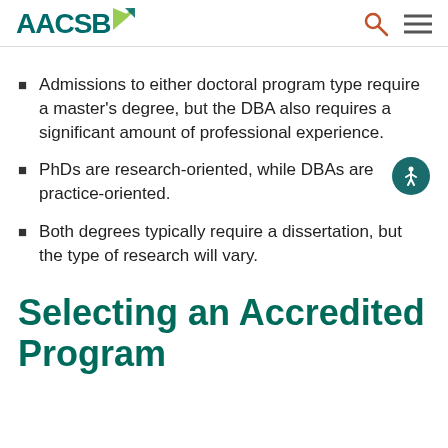AACSB
Admissions to either doctoral program type require a master's degree, but the DBA also requires a significant amount of professional experience.
PhDs are research-oriented, while DBAs are practice-oriented.
Both degrees typically require a dissertation, but the type of research will vary.
Selecting an Accredited Program